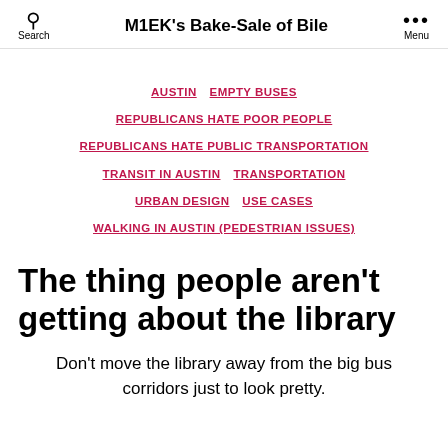M1EK's Bake-Sale of Bile | Search | Menu
AUSTIN  EMPTY BUSES  REPUBLICANS HATE POOR PEOPLE  REPUBLICANS HATE PUBLIC TRANSPORTATION  TRANSIT IN AUSTIN  TRANSPORTATION  URBAN DESIGN  USE CASES  WALKING IN AUSTIN (PEDESTRIAN ISSUES)
The thing people aren't getting about the library
Don't move the library away from the big bus corridors just to look pretty.